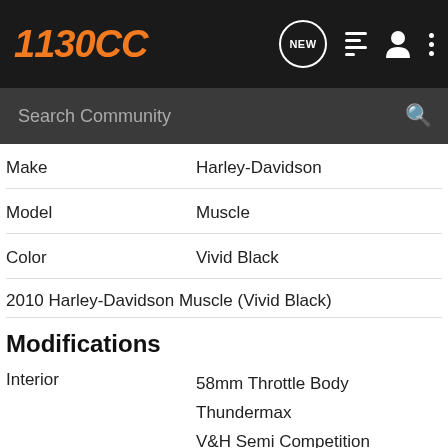1130CC
| Field | Value |
| --- | --- |
| Make | Harley-Davidson |
| Model | Muscle |
| Color | Vivid Black |
2010 Harley-Davidson Muscle (Vivid Black)
Modifications
| Category | Modification |
| --- | --- |
| Interior | 58mm Throttle Body
Thundermax
V&H Semi Competition |
| Audio | Fornales Magnums |